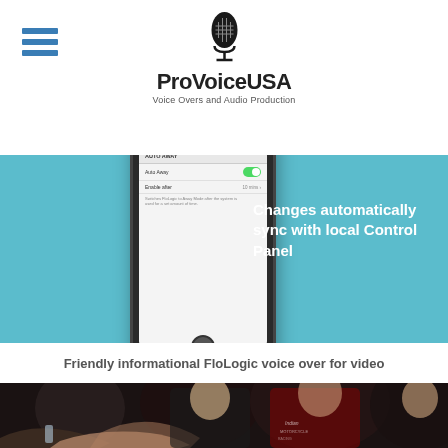[Figure (logo): ProVoiceUSA logo with microphone icon and tagline 'Voice Overs and Audio Production']
[Figure (screenshot): Smartphone displaying FloLogic app settings screen with 'Auto Away' toggle enabled, next to cyan/teal background with text 'Changes automatically sync with local Control Panel']
Friendly informational FloLogic voice over for video
[Figure (photo): Photo of people shaking hands at what appears to be an autograph signing event, with people wearing Indian Motorcycle Racing apparel]